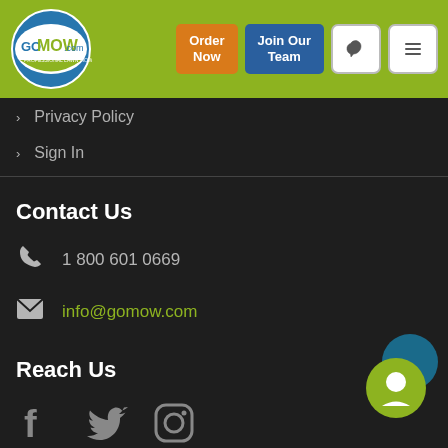[Figure (logo): GoMow.com logo with circular blue/green emblem and text on olive-green header bar with Order Now, Join Our Team, phone, and menu buttons]
Privacy Policy
Sign In
Contact Us
1 800 601 0669
info@gomow.com
Reach Us
[Figure (illustration): Facebook, Twitter, and Instagram social media icons in grey]
Review Us